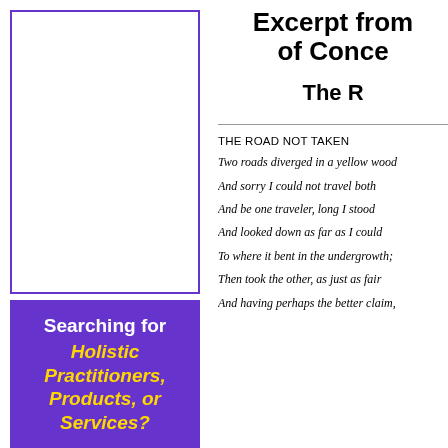[Figure (other): Empty white box with purple border, likely a placeholder image area]
Searching for Holistic Practitioners, Products, or Services?
Excerpt from of Conce
The R
THE ROAD NOT TAKEN
Two roads diverged in a yellow wood
And sorry I could not travel both
And be one traveler, long I stood
And looked down as far as I could
To where it bent in the undergrowth;
Then took the other, as just as fair
And having perhaps the better claim,